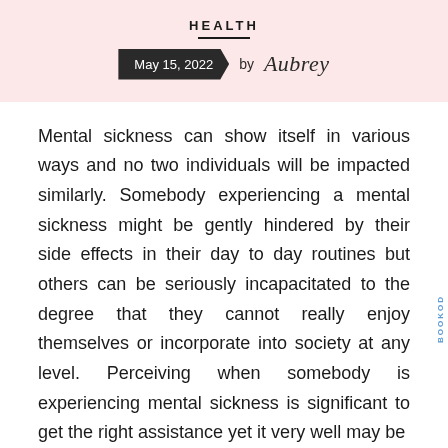HEALTH
May 15, 2022 by Aubrey
Mental sickness can show itself in various ways and no two individuals will be impacted similarly. Somebody experiencing a mental sickness might be gently hindered by their side effects in their day to day routines but others can be seriously incapacitated to the degree that they cannot really enjoy themselves or incorporate into society at any level. Perceiving when somebody is experiencing mental sickness is significant to get the right assistance yet it very well may be